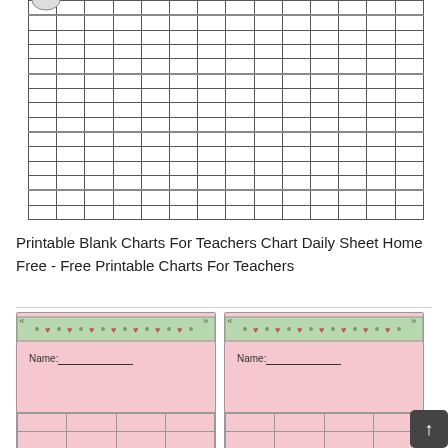[Figure (other): A printable blank grid/chart for teachers — empty cells arranged in rows and columns with alternating thick border rows, partially cropped at top, showing a portion of a circular decorative element at top-left.]
Printable Blank Charts For Teachers Chart Daily Sheet Home Free - Free Printable Charts For Teachers
[Figure (other): Two side-by-side decorative teacher chart cards with green header bar containing heart and dot pattern, pink background, 'Name:' line, and a grid at the bottom. A dark scroll-to-top button is visible at the bottom right.]